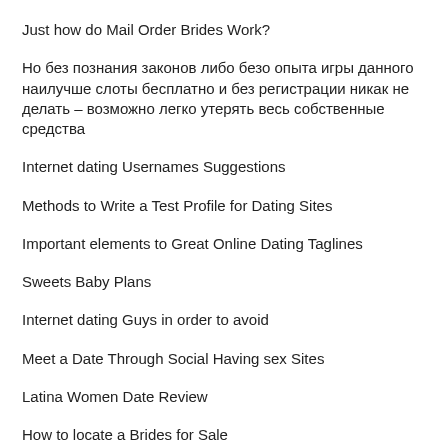Just how do Mail Order Brides Work?
Но без познания законов либо безо опыта игры данного наилучше слоты бесплатно и без регистрации никак не делать – возможно легко утерять весь собственные средства
Internet dating Usernames Suggestions
Methods to Write a Test Profile for Dating Sites
Important elements to Great Online Dating Taglines
Sweets Baby Plans
Internet dating Guys in order to avoid
Meet a Date Through Social Having sex Sites
Latina Women Date Review
How to locate a Brides for Sale